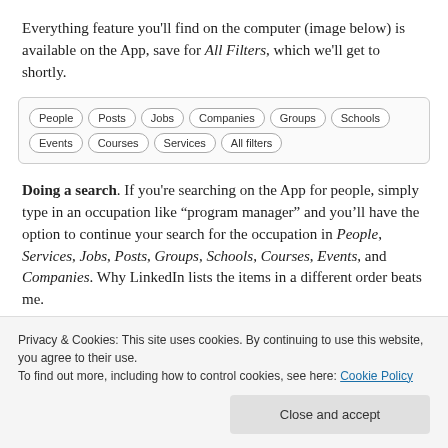Everything feature you'll find on the computer (image below) is available on the App, save for All Filters, which we'll get to shortly.
[Figure (screenshot): A filter bar showing pill-shaped buttons: People, Posts, Jobs, Companies, Groups, Schools, Events, Courses, Services, All filters]
Doing a search. If you're searching on the App for people, simply type in an occupation like “program manager” and you’ll have the option to continue your search for the occupation in People, Services, Jobs, Posts, Groups, Schools, Courses, Events, and Companies. Why LinkedIn lists the items in a different order beats me.
Privacy & Cookies: This site uses cookies. By continuing to use this website, you agree to their use.
To find out more, including how to control cookies, see here: Cookie Policy
Close and accept